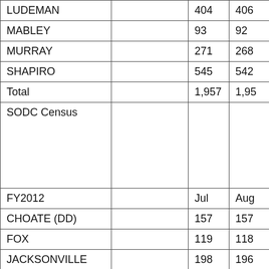| LUDEMAN |  | 404 | 406 |
| MABLEY |  | 93 | 92 |
| MURRAY |  | 271 | 268 |
| SHAPIRO |  | 545 | 542 |
| Total |  | 1,957 | 1,95 |
| SODC Census |  |  |  |
| FY2012 |  | Jul | Aug |
| CHOATE (DD) |  | 157 | 157 |
| FOX |  | 119 | 118 |
| JACKSONVILLE |  | 198 | 196 |
| KILEY |  | 218 | 218 |
| LUDEMAN |  | 413 | 412 |